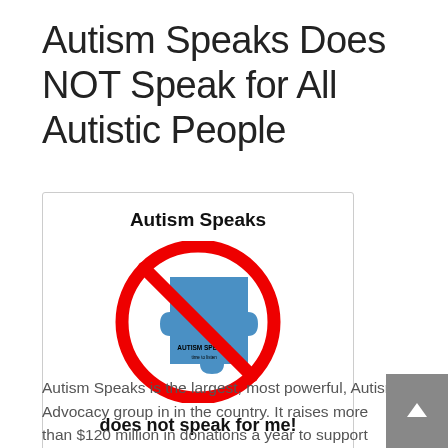Autism Speaks Does NOT Speak for All Autistic People
[Figure (illustration): A white card with the text 'Autism Speaks' at the top in bold, a red circle-with-slash no symbol over the Autism Speaks puzzle piece logo, and the text 'does not speak for me!' at the bottom in bold.]
Autism Speaks is the largest, most powerful, Autism Advocacy group in in the country. It raises more than $120 million in donations a year to support their efforts